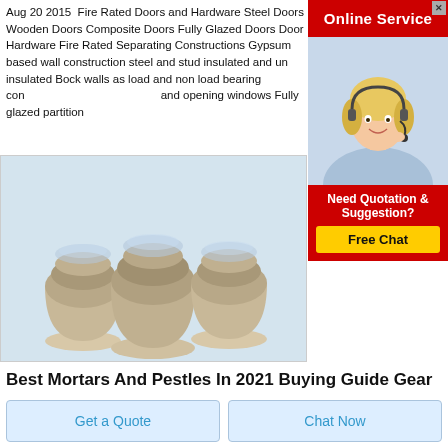Aug 20 2015  Fire Rated Doors and Hardware Steel Doors Wooden Doors Composite Doors Fully Glazed Doors Door Hardware Fire Rated Separating Constructions Gypsum based wall construction steel and stud insulated and un insulated Bock walls as load and non load bearing construction types Glazed fire and opening windows Fully glazed partition
[Figure (screenshot): Online Service advertisement panel with a red background showing 'Online Service' title, a woman with a headset, and a 'Free Chat' button with 'Need Quotation & Suggestion?' text]
[Figure (photo): Product photo showing three egg-shaped containers filled with granular material (mortars and pestles) with Rongsheng branding logo in top-left corner]
Best Mortars And Pestles In 2021 Buying Guide Gear
Get a Quote
Chat Now